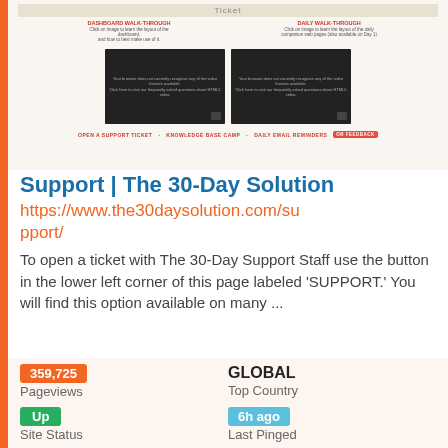[Figure (screenshot): Screenshot of The 30-Day Solution website showing dashboard walk-through and daily walk-through video thumbnails, with navigation links: OPEN A SUPPORT TICKET, KNOWLEDGE BASE CAMP, DAILY EMAIL REMINDERS]
Support | The 30-Day Solution
https://www.the30daysolution.com/support/
To open a ticket with The 30-Day Support Staff use the button in the lower left corner of this page labeled 'SUPPORT.' You will find this option available on many ...
359,725
Pageviews
GLOBAL
Top Country
Up
Site Status
6h ago
Last Pinged